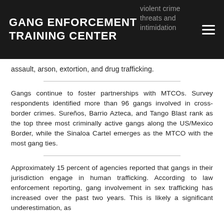GANG ENFORCEMENT TRAINING CENTER
assault, arson, extortion, and drug trafficking.
Gangs continue to foster partnerships with MTCOs. Survey respondents identified more than 96 gangs involved in cross- border crimes. Sureños, Barrio Azteca, and Tango Blast rank as the top three most criminally active gangs along the US/Mexico Border, while the Sinaloa Cartel emerges as the MTCO with the most gang ties.
Approximately 15 percent of agencies reported that gangs in their jurisdiction engage in human trafficking. According to law enforcement reporting, gang involvement in sex trafficking has increased over the past two years. This is likely a significant underestimation, as